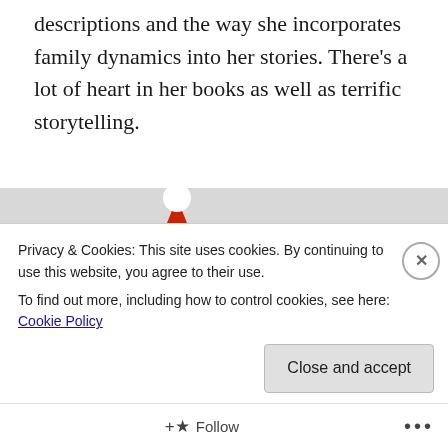descriptions and the way she incorporates family dynamics into her stories. There's a lot of heart in her books as well as terrific storytelling.
[Figure (photo): A man and woman wearing Christmas-themed sweaters and a Santa hat, smiling and lying down surrounded by snowflakes and holiday decorations.]
Privacy & Cookies: This site uses cookies. By continuing to use this website, you agree to their use.
To find out more, including how to control cookies, see here: Cookie Policy
Close and accept
Follow ···